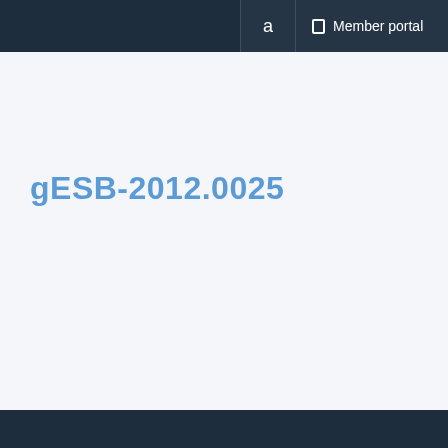a  Member portal
gESB-2012.0025